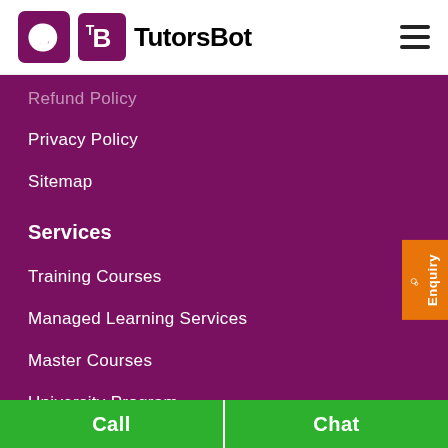[Figure (logo): TutorsBot logo with purple TB icon and bold text TutorsBot]
Refund Policy
Privacy Policy
Sitemap
Services
Training Courses
Managed Learning Services
Master Courses
University Program
Corporate Training
Placements
Call   Chat